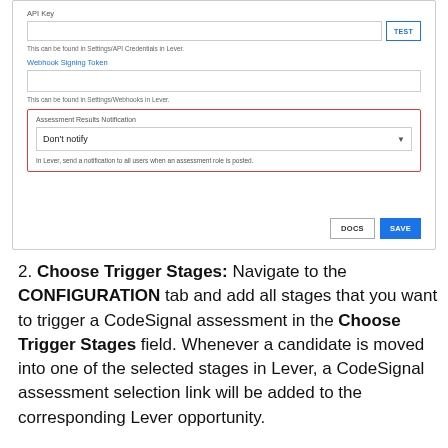[Figure (screenshot): UI screenshot showing API Key input with TEST button, Webhook Signing Token input field, and Assessment Results Notification dropdown set to 'Don't notify', with DOCS and SAVE buttons at the bottom right.]
2. Choose Trigger Stages: Navigate to the CONFIGURATION tab and add all stages that you want to trigger a CodeSignal assessment in the Choose Trigger Stages field. Whenever a candidate is moved into one of the selected stages in Lever, a CodeSignal assessment selection link will be added to the corresponding Lever opportunity.